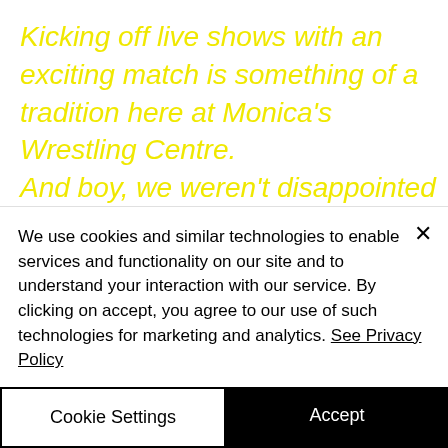Kicking off live shows with an exciting match is something of a tradition here at Monica's Wrestling Centre. And boy, we weren't disappointed with this one! The superb Scorpion went up against the stunning amazon Kassidy, who was making a welcome and long overdue return to our shows! Despite that absence, however, we discovered gorgeous Kassidy has lost none of her moves, skills or incredible...
We use cookies and similar technologies to enable services and functionality on our site and to understand your interaction with our service. By clicking on accept, you agree to our use of such technologies for marketing and analytics. See Privacy Policy